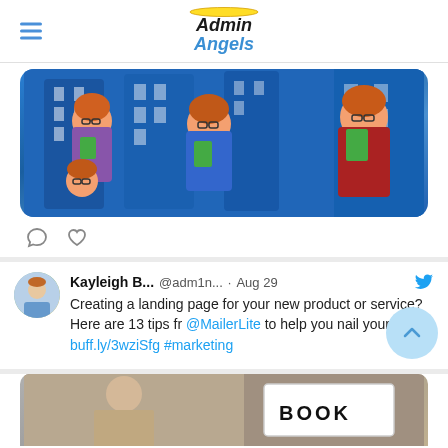Admin Angels
[Figure (illustration): Cartoon illustration of women with red hair and glasses in a city building setting, holding green books]
Creating a landing page for your new product or service? Here are 13 tips fr @MailerLite to help you nail your con… buff.ly/3wziSfg #marketing
[Figure (photo): Partial photo at bottom showing a person and a sign reading BOOK]